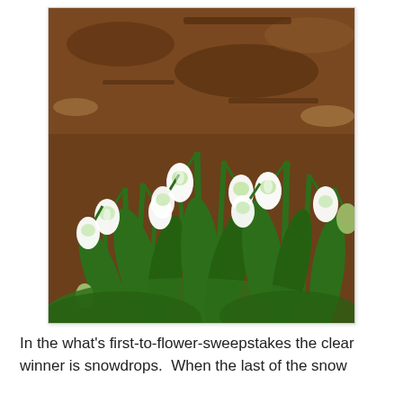[Figure (photo): A photograph of snowdrop flowers (Galanthus) in bloom, with white drooping bell-shaped flowers and green stems/leaves, against a background of brown mulch and soil.]
In the what's first-to-flower-sweepstakes the clear winner is snowdrops.  When the last of the snow